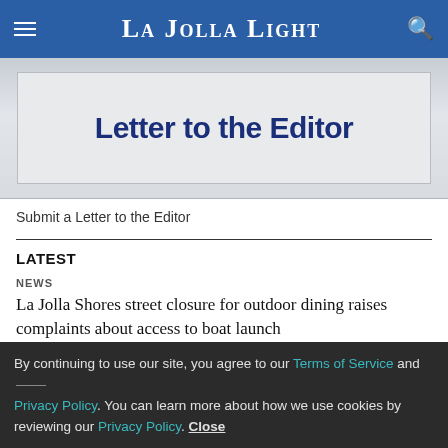La Jolla Light
[Figure (illustration): Letter to the Editor graphic with bold dark blue text on a light gray background]
Submit a Letter to the Editor
LATEST
NEWS
La Jolla Shores street closure for outdoor dining raises complaints about access to boat launch
Aug. 19, 2022
By continuing to use our site, you agree to our Terms of Service and Privacy Policy. You can learn more about how we use cookies by reviewing our Privacy Policy. Close
NEWS
Photo gallery: Bishop's vs. La Jolla in 'Battle for Pearl Street' as prep football season opens